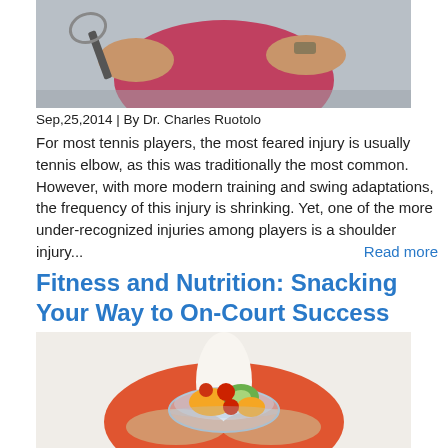[Figure (photo): Person in red shirt holding a tennis racket, cropped to show torso and arms]
Sep,25,2014  | By Dr. Charles Ruotolo
For most tennis players, the most feared injury is usually tennis elbow, as this was traditionally the most common. However, with more modern training and swing adaptations, the frequency of this injury is shrinking. Yet, one of the more under-recognized injuries among players is a shoulder injury...   Read more
Fitness and Nutrition: Snacking Your Way to On-Court Success
[Figure (photo): Person in orange/red tank top holding a glass bowl filled with colorful fruit salad (kiwi, cherries, mango, strawberries)]